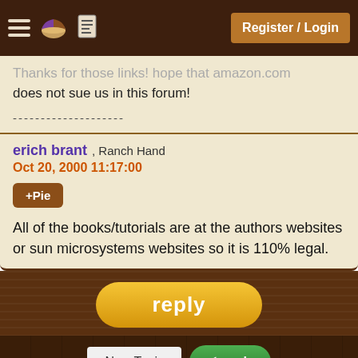Register / Login
does not sue us in this forum!
--------------------
erich brant , Ranch Hand
Oct 20, 2000 11:17:00
+Pie
All of the books/tutorials are at the authors websites or sun microsystems websites so it is 110% legal.
reply
New Topic
reply
This thread has been viewed 2725 times.